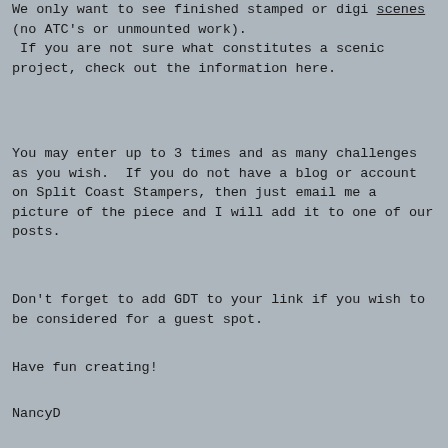We only want to see finished stamped or digi scenes (no ATC's or unmounted work).  If you are not sure what constitutes a scenic project, check out the information here.
You may enter up to 3 times and as many challenges as you wish.  If you do not have a blog or account on Split Coast Stampers, then just email me a picture of the piece and I will add it to one of our posts.
Don't forget to add GDT to your link if you wish to be considered for a guest spot.
Have fun creating!
NancyD